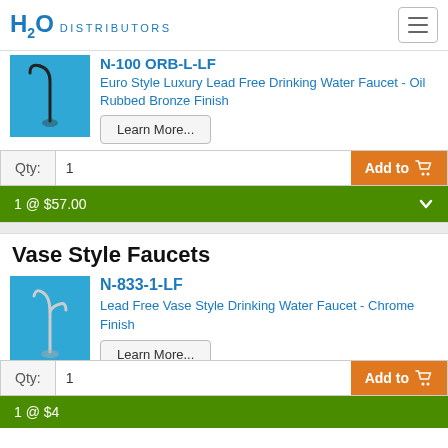H2O DISTRIBUTORS
N-100-ORB-L-LF (partially visible, truncated at top)
Euro Style Luxury Lead Free Drinking Water Faucet - Oil Rubbed Bronze Finish
Learn More...
Qty: 1  Add to cart  1 @ $57.00
Vase Style Faucets
N-833-1-LF
Lead Free Vase Style Drinking Water Faucet - Chrome Finish
Learn More...
Qty: 1  Add to cart